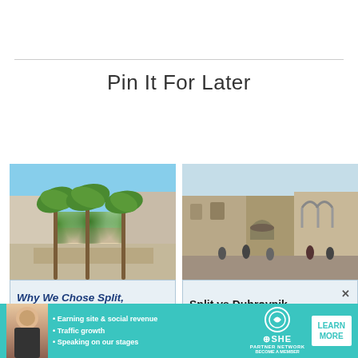Pin It For Later
[Figure (photo): Travel blog Pinterest card showing palm trees and promenade in Split, Croatia with caption 'Why We Chose Split, Croatia Over Dubrovnik']
[Figure (photo): Travel blog Pinterest card showing ancient ruins/Diocletian's Palace in Split, Croatia with caption 'Split vs Dubrovnik']
[Figure (infographic): SHE Partner Network advertisement banner: Earning site & social revenue, Traffic growth, Speaking on our stages. LEARN MORE button.]